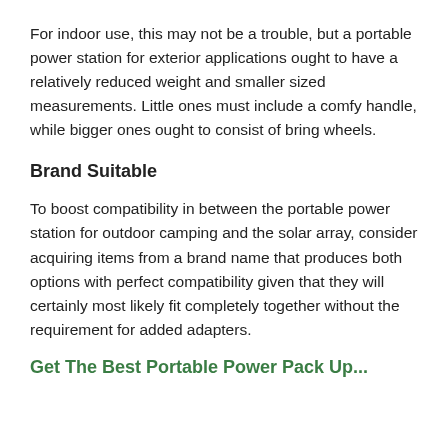For indoor use, this may not be a trouble, but a portable power station for exterior applications ought to have a relatively reduced weight and smaller sized measurements. Little ones must include a comfy handle, while bigger ones ought to consist of bring wheels.
Brand Suitable
To boost compatibility in between the portable power station for outdoor camping and the solar array, consider acquiring items from a brand name that produces both options with perfect compatibility given that they will certainly most likely fit completely together without the requirement for added adapters.
Get The Best Portable Power Pack Up...